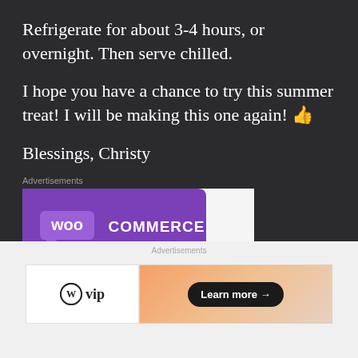Refrigerate for about 3-4 hours, or overnight. Then serve chilled.
I hope you have a chance to try this summer treat! I will be making this one again! 👍
Blessings, Christy
Advertisements
[Figure (screenshot): WooCommerce advertisement banner with purple background and white logo text]
Advertisements
[Figure (screenshot): WordPress VIP advertisement with Learn more button on peach/orange gradient background]